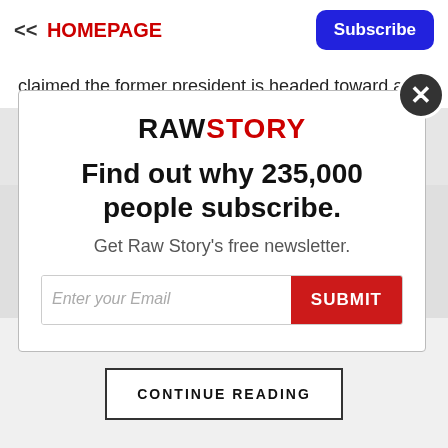<< HOMEPAGE | Subscribe
claimed the former president is headed toward a spate of criminal indictments and is not taking his legal peril
[Figure (screenshot): Raw Story newsletter subscription modal with logo, headline 'Find out why 235,000 people subscribe.', subtext 'Get Raw Story's free newsletter.', email input and SUBMIT button, and a close (X) button.]
CONTINUE READING